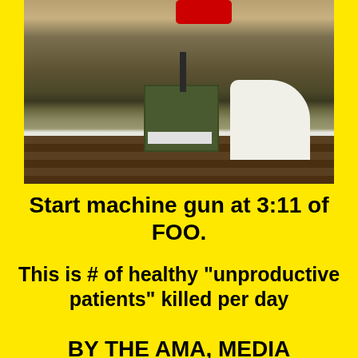[Figure (photo): A person in a white shirt operating or loading a military-style ammo box/machine gun apparatus on wooden pallets or slats outdoors. A red object is visible at the top. The scene is at a shooting range or outdoor area.]
Start machine gun at 3:11 of FOO.
This is # of healthy "unproductive patients" killed per day
BY THE AMA, MEDIA